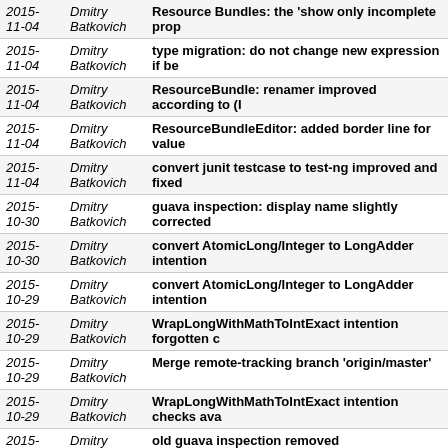| Date | Author | Message |
| --- | --- | --- |
| 2015-11-04 | Dmitry Batkovich | Resource Bundles: the 'show only incomplete pro... |
| 2015-11-04 | Dmitry Batkovich | type migration: do not change new expression if be... |
| 2015-11-04 | Dmitry Batkovich | ResourceBundle: renamer improved according to (I... |
| 2015-11-04 | Dmitry Batkovich | ResourceBundleEditor: added border line for value... |
| 2015-11-04 | Dmitry Batkovich | convert junit testcase to test-ng improved and fixed... |
| 2015-10-30 | Dmitry Batkovich | guava inspection: display name slightly corrected |
| 2015-10-30 | Dmitry Batkovich | convert AtomicLong/Integer to LongAdder intention... |
| 2015-10-29 | Dmitry Batkovich | convert AtomicLong/Integer to LongAdder intention... |
| 2015-10-29 | Dmitry Batkovich | WrapLongWithMathToIntExact intention forgotten c... |
| 2015-10-29 | Dmitry Batkovich | Merge remote-tracking branch 'origin/master' |
| 2015-10-29 | Dmitry Batkovich | WrapLongWithMathToIntExact intention checks ava... |
| 2015-10-28 | Dmitry Batkovich | old guava inspection removed |
| 2015-10-28 | Dmitry Batkovich | IDEA-146770 Suggest Math.toIntExact to convert lo... |
| 2015-... | Dmitry | type migration: when return statement expression is... |